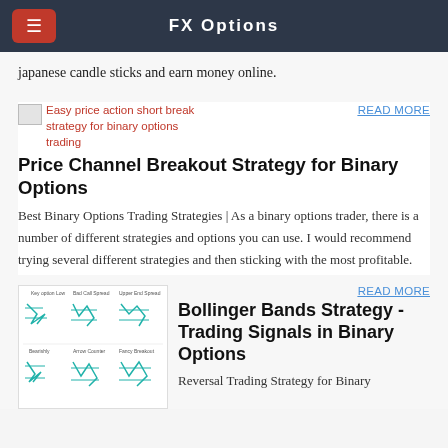FX Options
japanese candle sticks and earn money online.
[Figure (illustration): Thumbnail image placeholder for Easy price action short break strategy for binary options trading]
READ MORE
Price Channel Breakout Strategy for Binary Options
Best Binary Options Trading Strategies | As a binary options trader, there is a number of different strategies and options you can use. I would recommend trying several different strategies and then sticking with the most profitable.
[Figure (illustration): Chart diagram showing Bollinger Bands patterns including Key option Low, Bad Call Spread, Upper End Spread, Bearishly, Arrow Counter, Fancy Breakout patterns in teal/cyan line art]
READ MORE
Bollinger Bands Strategy - Trading Signals in Binary Options
Reversal Trading Strategy for Binary